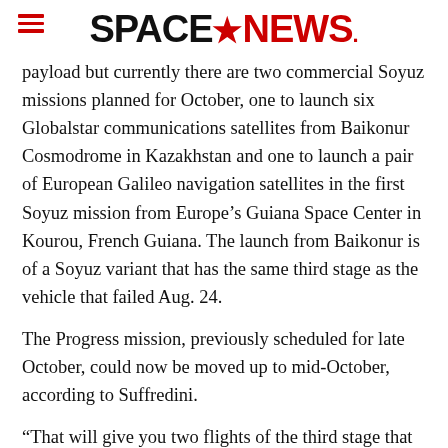SPACENEWS
payload but currently there are two commercial Soyuz missions planned for October, one to launch six Globalstar communications satellites from Baikonur Cosmodrome in Kazakhstan and one to launch a pair of European Galileo navigation satellites in the first Soyuz mission from Europe's Guiana Space Center in Kourou, French Guiana. The launch from Baikonur is of a Soyuz variant that has the same third stage as the vehicle that failed Aug. 24.
The Progress mission, previously scheduled for late October, could now be moved up to mid-October, according to Suffredini.
“That will give you two flights of the third stage that had the problem and, hopefully, convince you that